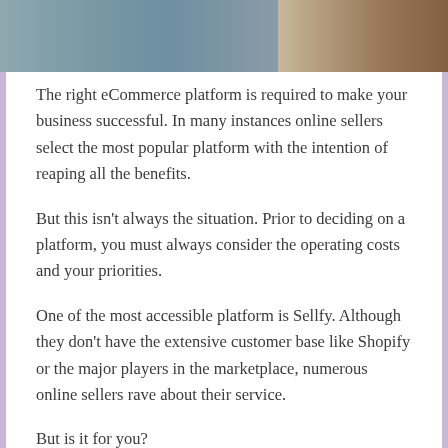[Figure (photo): Partial photo of a room with a grey sofa/couch and wooden door/wall elements visible]
The right eCommerce platform is required to make your business successful. In many instances online sellers select the most popular platform with the intention of reaping all the benefits.
But this isn't always the situation. Prior to deciding on a platform, you must always consider the operating costs and your priorities.
One of the most accessible platform is Sellfy. Although they don't have the extensive customer base like Shopify or the major players in the marketplace, numerous online sellers rave about their service.
But is it for you?
This review will examine the services that Sellfy offers its customers. For you to make an informed decision to go with